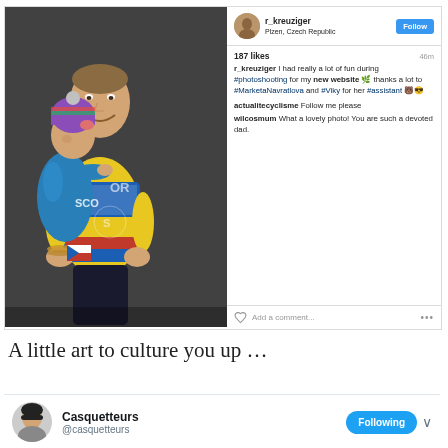[Figure (screenshot): Instagram post by r_kreuziger showing a cyclist holding a child who is kissing his cheek. The cyclist wears a yellow and blue jersey with SCOTT branding. The child wears a teal puffer jacket and colorful knit hat. Username: r_kreuziger, Location: Plzen, Czech Republic. 187 likes, 46m ago. Caption: I had really a lot of fun during #photoshooting for my new website thanks a lot to #MarketaNavratlova and #Viky for her #assistant. Comments from actualitecyclisme: Follow me please; wilcosmum: What a lovely photo! You are such a devoted dad.]
A little art to culture you up …
[Figure (screenshot): Twitter/social media profile block for Casquetteurs (@casquetteurs) with a Following button and dropdown arrow.]